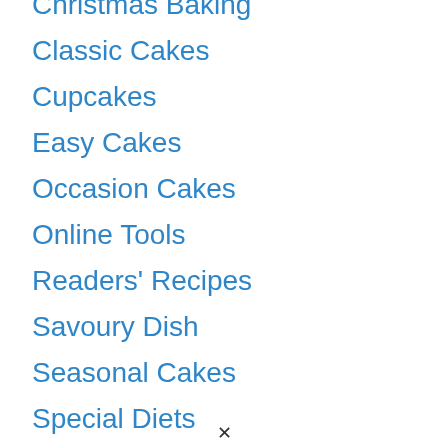Christmas Baking
Classic Cakes
Cupcakes
Easy Cakes
Occasion Cakes
Online Tools
Readers' Recipes
Savoury Dish
Seasonal Cakes
Special Diets
Start a Business
Videos